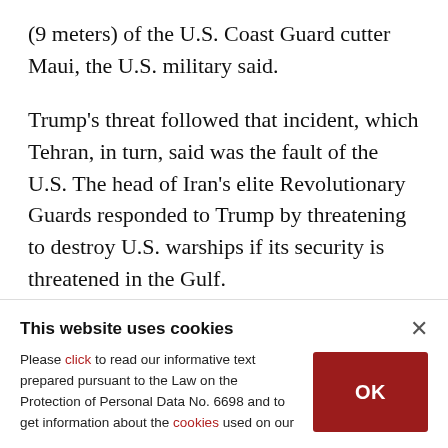(9 meters) of the U.S. Coast Guard cutter Maui, the U.S. military said.
Trump's threat followed that incident, which Tehran, in turn, said was the fault of the U.S. The head of Iran's elite Revolutionary Guards responded to Trump by threatening to destroy U.S. warships if its security is threatened in the Gulf.
The back-and-forth is just the latest example of razor-sharp tension between Washington and
This website uses cookies
Please click to read our informative text prepared pursuant to the Law on the Protection of Personal Data No. 6698 and to get information about the cookies used on our
OK